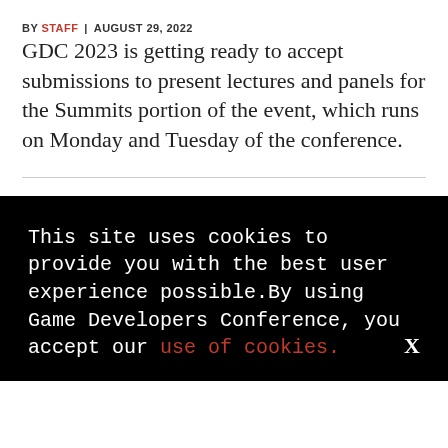BY STAFF | AUGUST 29, 2022
GDC 2023 is getting ready to accept submissions to present lectures and panels for the Summits portion of the event, which runs on Monday and Tuesday of the conference.
This site uses cookies to provide you with the best user experience possible.By using Game Developers Conference, you accept our use of cookies.